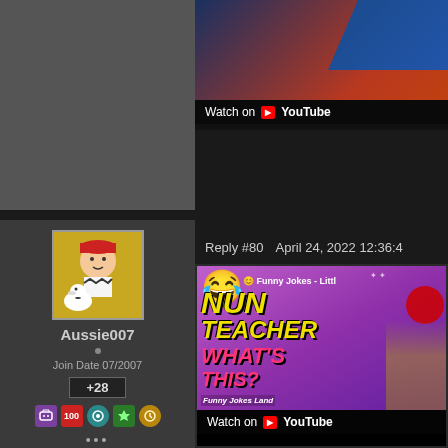[Figure (screenshot): Top YouTube embed showing 'Watch on YouTube' bar with blue/orange thumbnail]
[Figure (screenshot): User profile panel with avatar (Charlie Brown/Snoopy), username Aussie007, Join Date 07/2007, rep +28, badges, and ellipsis]
Reply #80    April 24, 2022 12:36:4
[Figure (screenshot): YouTube embed thumbnail for 'Funny Jokes - Nun Teacher What's This?' with purple background, yellow and pink text, laughing emoji, Funny Jokes Land branding, and Watch on YouTube bar]